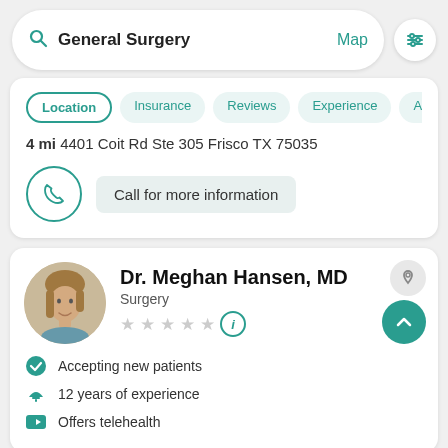[Figure (screenshot): Search bar with 'General Surgery' query and Map link and filter icon]
Location Insurance Reviews Experience Abo
4 mi 4401 Coit Rd Ste 305 Frisco TX 75035
Call for more information
Dr. Meghan Hansen, MD
Surgery
Accepting new patients
12 years of experience
Offers telehealth